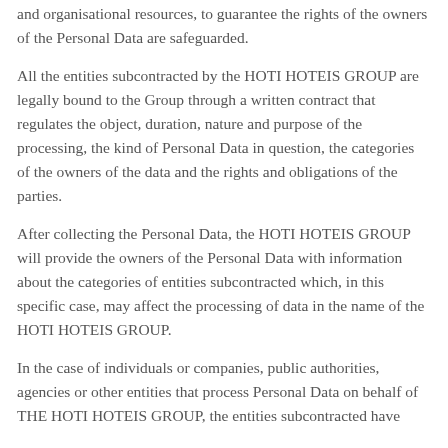and organisational resources, to guarantee the rights of the owners of the Personal Data are safeguarded.
All the entities subcontracted by the HOTI HOTEIS GROUP are legally bound to the Group through a written contract that regulates the object, duration, nature and purpose of the processing, the kind of Personal Data in question, the categories of the owners of the data and the rights and obligations of the parties.
After collecting the Personal Data, the HOTI HOTEIS GROUP will provide the owners of the Personal Data with information about the categories of entities subcontracted which, in this specific case, may affect the processing of data in the name of the HOTI HOTEIS GROUP.
In the case of individuals or companies, public authorities, agencies or other entities that process Personal Data on behalf of THE HOTI HOTEIS GROUP, the entities subcontracted have